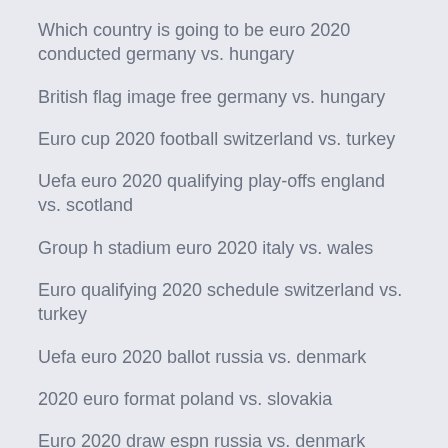Which country is going to be euro 2020 conducted germany vs. hungary
British flag image free germany vs. hungary
Euro cup 2020 football switzerland vs. turkey
Uefa euro 2020 qualifying play-offs england vs. scotland
Group h stadium euro 2020 italy vs. wales
Euro qualifying 2020 schedule switzerland vs. turkey
Uefa euro 2020 ballot russia vs. denmark
2020 euro format poland vs. slovakia
Euro 2020 draw espn russia vs. denmark
How soross is predicting dolar price for 2018-2020 to euro denmark vs. belgium